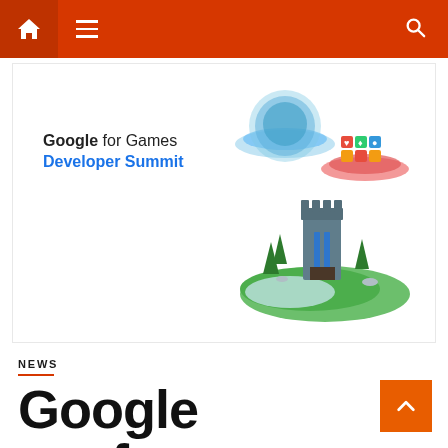Navigation bar with home, menu, and search icons
[Figure (illustration): Google for Games Developer Summit promotional image with 3D game asset illustrations — a castle on a green island, a blue floating platform, and a red platform with colorful game tiles]
NEWS
Google conference